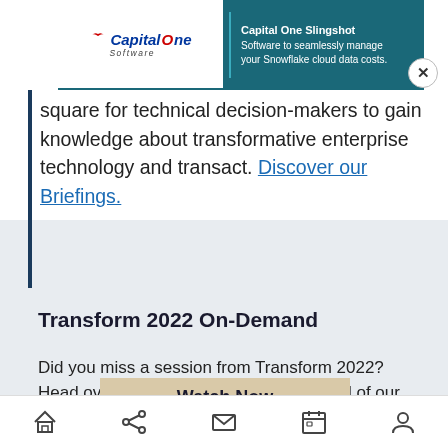[Figure (screenshot): Capital One Slingshot advertisement banner with logo and text: 'Capital One Slingshot - Software to seamlessly manage your Snowflake cloud data costs.' with a close (X) button.]
Ve square for technical decision-makers to gain knowledge about transformative enterprise technology and transact. Discover our Briefings.
Transform 2022 On-Demand
Did you miss a session from Transform 2022? Head over to the on-demand library for all of our featured sessions.
Watch Now
Home | Share | Mail | Calendar | Profile (navigation icons)